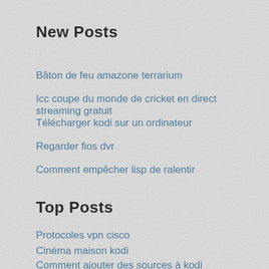New Posts
Bâton de feu amazone terrarium
Icc coupe du monde de cricket en direct streaming gratuit
Télécharger kodi sur un ordinateur
Regarder fios dvr
Comment empêcher lisp de ralentir
Top Posts
Protocoles vpn cisco
Cinéma maison kodi
Comment ajouter des sources à kodi_